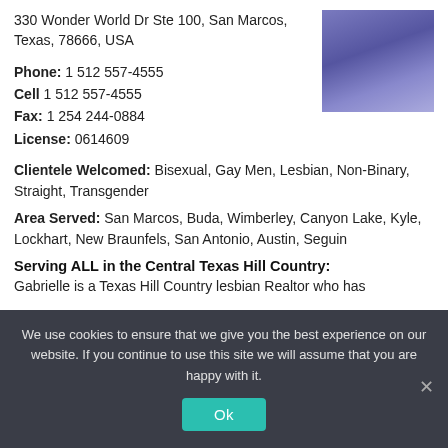330 Wonder World Dr Ste 100, San Marcos, Texas, 78666, USA
[Figure (photo): Headshot photo of a person wearing a blue jacket and necklace]
Phone: 1 512 557-4555
Cell 1 512 557-4555
Fax: 1 254 244-0884
License: 0614609
Clientele Welcomed: Bisexual, Gay Men, Lesbian, Non-Binary, Straight, Transgender
Area Served: San Marcos, Buda, Wimberley, Canyon Lake, Kyle, Lockhart, New Braunfels, San Antonio, Austin, Seguin
Serving ALL in the Central Texas Hill Country:
Gabrielle is a Texas Hill Country lesbian Realtor who has
We use cookies to ensure that we give you the best experience on our website. If you continue to use this site we will assume that you are happy with it.